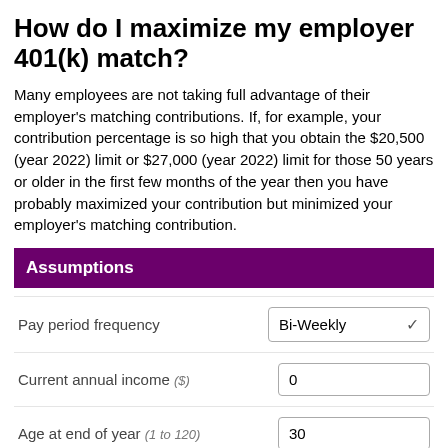How do I maximize my employer 401(k) match?
Many employees are not taking full advantage of their employer's matching contributions. If, for example, your contribution percentage is so high that you obtain the $20,500 (year 2022) limit or $27,000 (year 2022) limit for those 50 years or older in the first few months of the year then you have probably maximized your contribution but minimized your employer's matching contribution.
Assumptions
Pay period frequency: Bi-Weekly
Current annual income ($): 0
Age at end of year (1 to 120): 30
Primary Matching Schedule